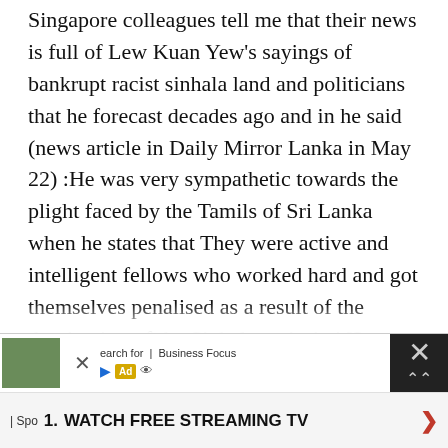Singapore colleagues tell me that their news is full of Lew Kuan Yew's sayings of bankrupt racist sinhala land and politicians that he forecast decades ago and in he said (news article in Daily Mirror Lanka in May 22) :He was very sympathetic towards the plight faced by the Tamils of Sri Lanka when he states that They were active and intelligent fellows who worked hard and got themselves penalised as a result of the domination of the Sinhala majority' [2, pg.14/22], he expresses his sentiments further when he states that the 'Sinhalese who are less capable are putting down Tamils who are more capable' [3]. The expulsion of tamils resulted in the bankrutcy of sinhala land. In any event why should
[Figure (other): Advertisement banner at bottom of page with thumbnail image, close button, ad badge, and 'WATCH FREE STREAMING TV' text]